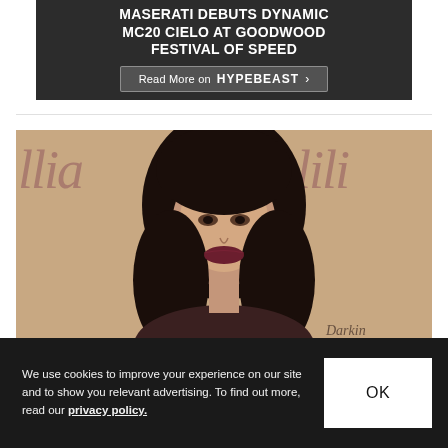[Figure (other): Dark gray advertisement banner for Maserati MC20 Cielo at Goodwood Festival of Speed with a 'Read More on HYPEBEAST' button]
[Figure (photo): Photo of a young woman with long curly dark hair and dark lip color, standing in front of a beige/nude branded backdrop with italic script text reading 'llia...lili'. A cursive signature 'Darkin' appears at the bottom right.]
We use cookies to improve your experience on our site and to show you relevant advertising. To find out more, read our privacy policy.